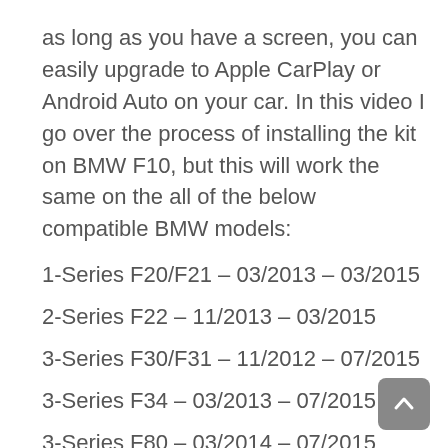as long as you have a screen, you can easily upgrade to Apple CarPlay or Android Auto on your car. In this video I go over the process of installing the kit on BMW F10, but this will work the same on the all of the below compatible BMW models:
1-Series F20/F21 – 03/2013 – 03/2015
2-Series F22 – 11/2013 – 03/2015
3-Series F30/F31 – 11/2012 – 07/2015
3-Series F34 – 03/2013 – 07/2015
3-Series F80 – 03/2014 – 07/2015
4-Series F32 – 07/2013 – 07/2015